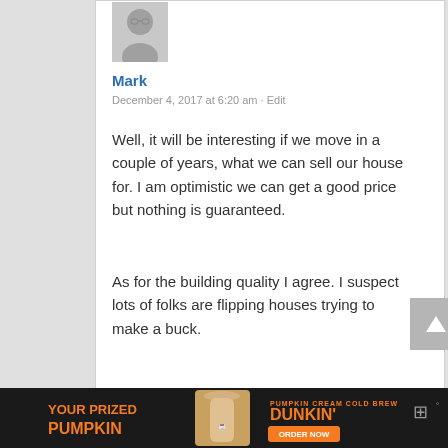[Figure (photo): Avatar photo of Mark, a man with glasses wearing a light-colored shirt]
Mark
December 4, 2017 at 6:20 am · Edit
Well, it will be interesting if we move in a couple of years, what we can sell our house for. I am optimistic we can get a good price but nothing is guaranteed.
As for the building quality I agree. I suspect lots of folks are flipping houses trying to make a buck.
[Figure (infographic): Dunkin' Donuts ad banner: 'YOUR PRIZED PUMPKIN' with an image of Pumpkin Cream Cold Brew and 'DUNKIN' ORDER NOW' button on dark background]